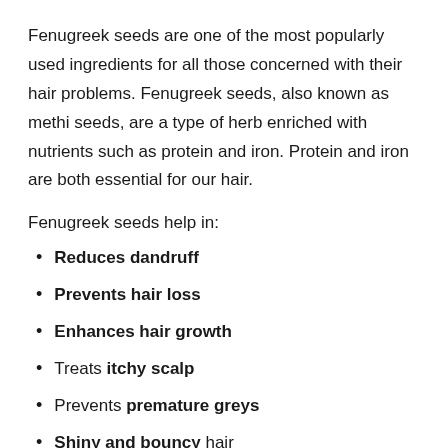Fenugreek seeds are one of the most popularly used ingredients for all those concerned with their hair problems. Fenugreek seeds, also known as methi seeds, are a type of herb enriched with nutrients such as protein and iron. Protein and iron are both essential for our hair.
Fenugreek seeds help in:
Reduces dandruff
Prevents hair loss
Enhances hair growth
Treats itchy scalp
Prevents premature greys
Shiny and bouncy hair
It gives you frizz-free hair